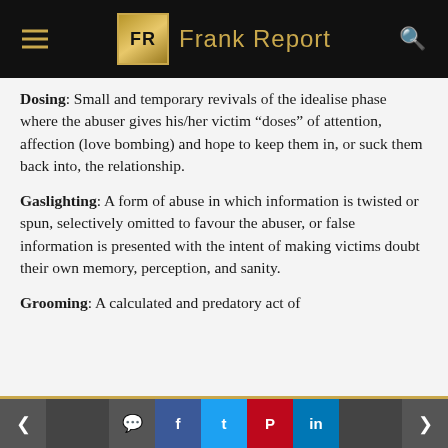Frank Report
Dosing: Small and temporary revivals of the idealise phase where the abuser gives his/her victim “doses” of attention, affection (love bombing) and hope to keep them in, or suck them back into, the relationship.
Gaslighting: A form of abuse in which information is twisted or spun, selectively omitted to favour the abuser, or false information is presented with the intent of making victims doubt their own memory, perception, and sanity.
Grooming: A calculated and predatory act of
Navigation and social share buttons